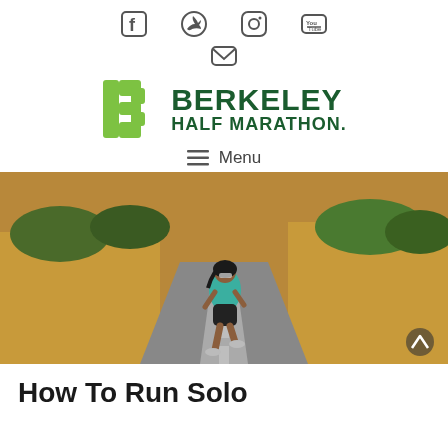Social media icons: Facebook, Twitter, Instagram, YouTube, Email
[Figure (logo): Berkeley Half Marathon logo with green stylized B icon and bold dark green text BERKELEY HALF MARATHON]
≡ Menu
[Figure (photo): A woman in a teal top and black shorts running on a rural road at golden hour, with dry golden hills and trees in the background]
How To Run Solo